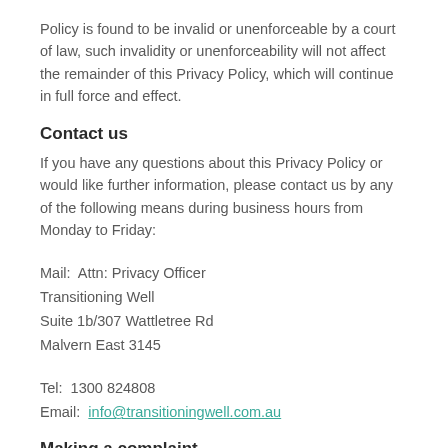Policy is found to be invalid or unenforceable by a court of law, such invalidity or unenforceability will not affect the remainder of this Privacy Policy, which will continue in full force and effect.
Contact us
If you have any questions about this Privacy Policy or would like further information, please contact us by any of the following means during business hours from Monday to Friday:
Mail:  Attn: Privacy Officer
Transitioning Well
Suite 1b/307 Wattletree Rd
Malvern East 3145
Tel:  1300 824808
Email:  info@transitioningwell.com.au
Making a complaint